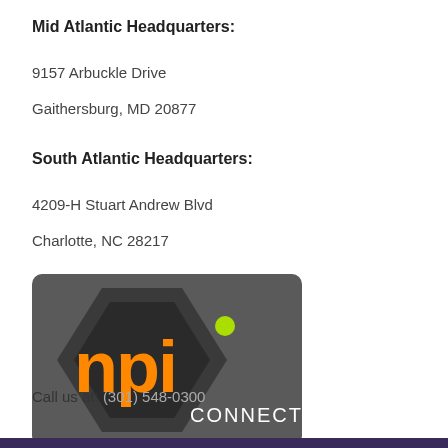Mid Atlantic Headquarters:
9157 Arbuckle Drive
Gaithersburg, MD 20877
South Atlantic Headquarters:
4209-H Stuart Andrew Blvd
Charlotte, NC 28217
[Figure (logo): NPI Connect logo on dark gray hexagonal background with orange 'npi' lettering and white 'CONNECT' text, green dot accent]
Call us at: (301) 548-0300